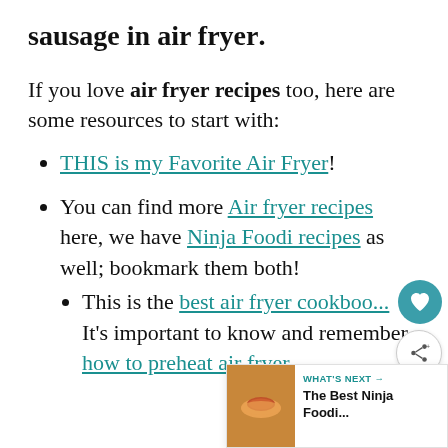sausage in air fryer.
If you love air fryer recipes too, here are some resources to start with:
THIS is my Favorite Air Fryer!
You can find more Air fryer recipes here, we have Ninja Foodi recipes as well; bookmark them both!
This is the best air fryer cookboo... It's important to know and remember how to preheat air fryer